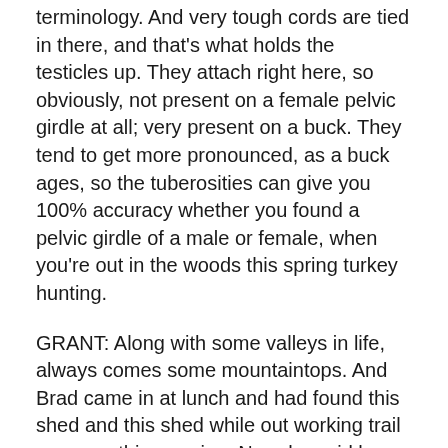terminology. And very tough cords are tied in there, and that's what holds the testicles up. They attach right here, so obviously, not present on a female pelvic girdle at all; very present on a buck. They tend to get more pronounced, as a buck ages, so the tuberosities can give you 100% accuracy whether you found a pelvic girdle of a male or female, when you're out in the woods this spring turkey hunting.
GRANT: Along with some valleys in life, always comes some mountaintops. And Brad came in at lunch and had found this shed and this shed while out working trail cameras this morning. Now, he said he only did about one camera in five hours. So I'm not sure if he was working trail cameras or looking for sheds. No, I'm just teasing. Brad's great, but while he was going camera to camera, out of the pickup window, literally, saw this sticking up in one of our wheat fields.